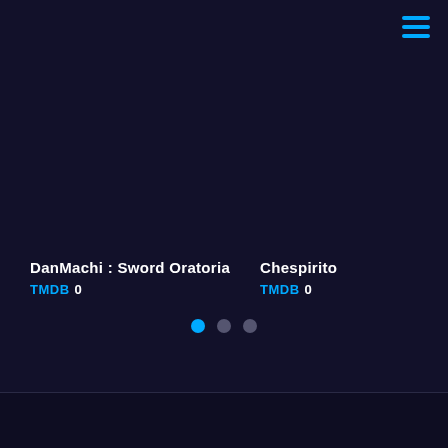[Figure (screenshot): Hamburger menu icon (three horizontal cyan lines) in top-right corner of a dark UI]
DanMachi : Sword Oratoria
TMDB 0
Chespirito
TMDB 0
[Figure (infographic): Three pagination dots: first dot is cyan (active), second and third are dark grey]